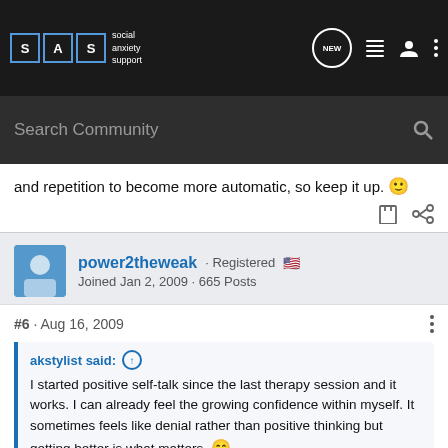SAS social anxiety support — NEW [icons]
Search Community
and repetition to become more automatic, so keep it up. 🙂
power2theweak · Registered 🇺🇸
Joined Jan 2, 2009 · 665 Posts
#6 · Aug 16, 2009
akstylist said: ↑
I started positive self-talk since the last therapy session and it works. I can already feel the growing confidence within myself. It sometimes feels like denial rather than positive thinking but getting better is what matters. 😄